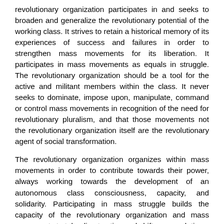revolutionary organization participates in and seeks to broaden and generalize the revolutionary potential of the working class. It strives to retain a historical memory of its experiences of success and failures in order to strengthen mass movements for its liberation. It participates in mass movements as equals in struggle. The revolutionary organization should be a tool for the active and militant members within the class. It never seeks to dominate, impose upon, manipulate, command or control mass movements in recognition of the need for revolutionary pluralism, and that those movements not the revolutionary organization itself are the revolutionary agent of social transformation.
The revolutionary organization organizes within mass movements in order to contribute towards their power, always working towards the development of an autonomous class consciousness, capacity, and solidarity. Participating in mass struggle builds the capacity of the revolutionary organization and mass movements to take direct action and shift power relations. It allows both to experience collective power through struggle. The revolutionary organization proposes collective solutions to everyday problems whether that be directly confronting our oppressors or constructing alternative institutions against Capitalism and the State.
The revolutionary organization does this in order to build a social